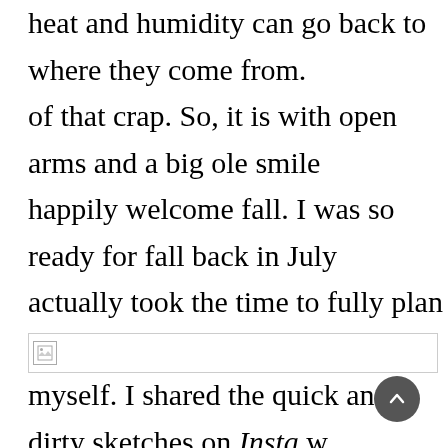heat and humidity can go back to where they come from. of that crap. So, it is with open arms and a big ole smile happily welcome fall. I was so ready for fall back in July actually took the time to fully plan a 10 piece fall collection myself. I shared the quick and dirty sketches on Insta w descriptions of each. I then added a couple more garments sharing that are not pictured. The collection is a little bit grunge with modern design silhouettes.
[Figure (photo): Broken/missing image placeholder at bottom of text content]